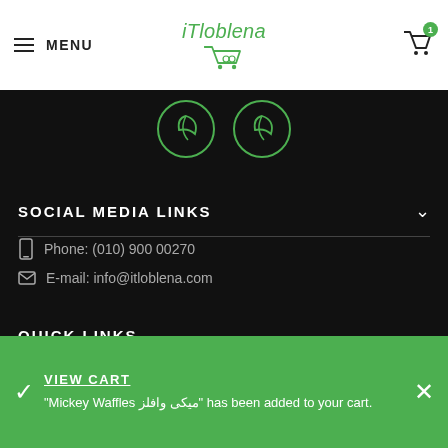MENU | iTloblena | Cart (1)
[Figure (illustration): Two green circular leaf/plant icons on black background]
SOCIAL MEDIA LINKS
Phone: (010) 900 00270
E-mail: info@itloblena.com
QUICK LINKS
VIEW CART
"Mickey Waffles ميكى وافلز" has been added to your cart.